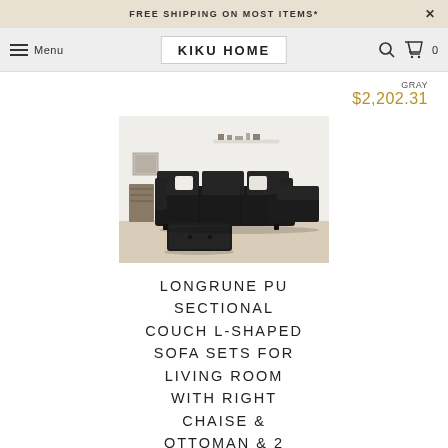FREE SHIPPING ON MOST ITEMS*
KIKU HOME  Menu
GRAY
$2,202.31
[Figure (photo): Black L-shaped sectional couch with ottoman on a light wood floor, white wall with floating shelf in background.]
LONGRUNE PU SECTIONAL COUCH L-SHAPED SOFA SETS FOR LIVING ROOM WITH RIGHT CHAISE & OTTOMAN & 2 PILLOWS, BLACK